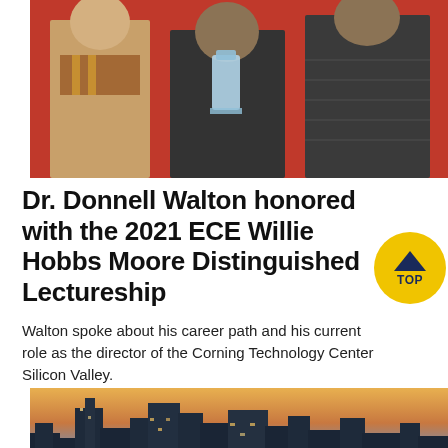[Figure (photo): Three people standing together, the center person holding a glass award trophy, in front of a red background]
Dr. Donnell Walton honored with the 2021 ECE Willie Hobbs Moore Distinguished Lectureship
Walton spoke about his career path and his current role as the director of the Corning Technology Center Silicon Valley.
[Figure (photo): City skyline at sunset with tall buildings illuminated against an orange and purple sky]